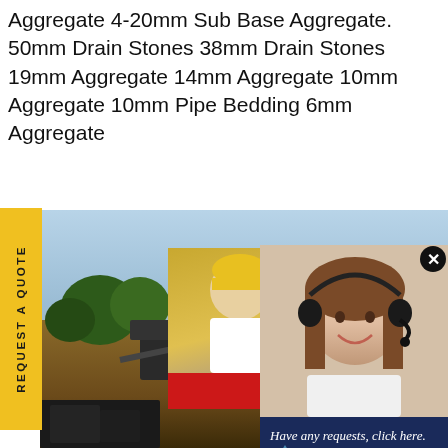Aggregate 4-20mm Sub Base Aggregate. 50mm Drain Stones 38mm Drain Stones 19mm Aggregate 14mm Aggregate 10mm Aggregate 10mm Pipe Bedding 6mm Aggregate
[Figure (photo): Yellow tab on left side reading REQUEST A QUOTE vertically]
[Figure (photo): Live chat popup overlay showing workers in hard hats, LIVE CHAT title in red, subtitle Click for a Free Consultation, Chat now and Chat later buttons]
[Figure (photo): Right side widget showing a woman with headset smiling, dark blue box reading Have any requests, click here., and a gold Quotation button]
[Figure (photo): Background photo of mining/quarry equipment and machinery on construction site]